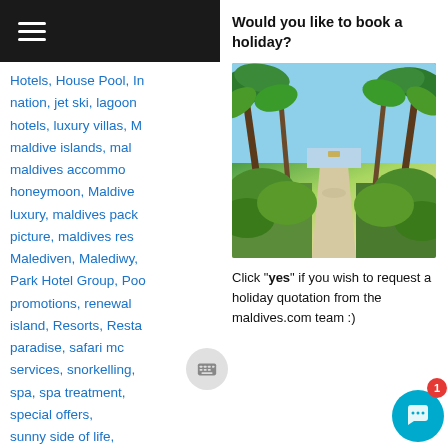≡ (hamburger menu)
Hotels, House Pool, In nation, jet ski, lagoon hotels, luxury villas, M maldive islands, mal maldives accommodo honeymoon, Maldive luxury, maldives pack picture, maldives res Malediven, Malediwy, Park Hotel Group, Poo promotions, renewal island, Resorts, Resta paradise, safari mc services, snorkelling, spa, spa treatment, special offers, sunny side of life, Sunset, sunshine, surf breaks, Surfi Swimming, top beaches, tour, tour agents, tourism Travel, travel agents, travel guide, travel tips, trip, t tropical paradise, underwater, Vacation, visitmaldives,
Would you like to book a holiday?
[Figure (photo): Tropical path lined with palm trees and lush green vegetation leading to a beach with blue sky]
Click "yes" if you wish to request a holiday quotation from the maldives.com team :)